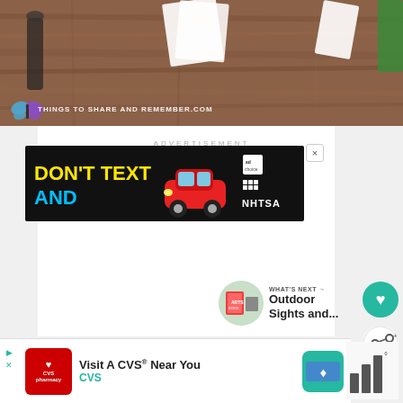[Figure (photo): Top portion of webpage showing a wooden floor/table surface with scattered papers and objects, watermarked with THINGSTOSHAREANDREMEMBER.COM]
ADVERTISEMENT
[Figure (infographic): Black banner ad reading DON'T TEXT AND [car emoji] with NHTSA logo - anti-texting while driving PSA]
[Figure (infographic): Circular heart (like) button in teal color]
[Figure (infographic): Circular share button with share icon]
WHAT'S NEXT → Outdoor Sights and...
[Figure (infographic): Bottom banner ad: Visit A CVS Near You - CVS pharmacy logo with map pin icon]
[Figure (infographic): Weather/temperature widget showing bars]